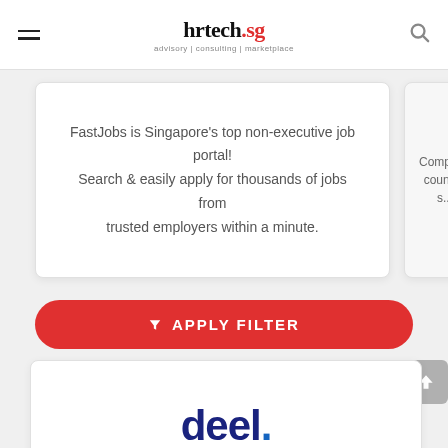hrtech.sg — advisory | consulting | marketplace
FastJobs is Singapore's top non-executive job portal! Search & easily apply for thousands of jobs from trusted employers within a minute.
Compar... countr... s...
[Figure (other): Red rounded button with white funnel/filter icon and text APPLY FILTER]
[Figure (logo): deel. logo in dark navy blue bold text with a blue dot]